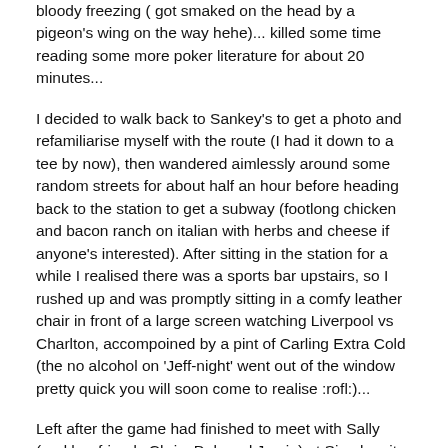bloody freezing ( got smaked on the head by a pigeon's wing on the way hehe)... killed some time reading some more poker literature for about 20 minutes...
I decided to walk back to Sankey's to get a photo and refamiliarise myself with the route (I had it down to a tee by now), then wandered aimlessly around some random streets for about half an hour before heading back to the station to get a subway (footlong chicken and bacon ranch on italian with herbs and cheese if anyone's interested). After sitting in the station for a while I realised there was a sports bar upstairs, so I rushed up and was promptly sitting in a comfy leather chair in front of a large screen watching Liverpool vs Charlton, accompoined by a pint of Carling Extra Cold (the no alcohol on 'Jeff-night' went out of the window pretty quick you will soon come to realise :rofl:)...
Left after the game had finished to meet with Sally (and her friends Chris, Deb and Jamie) at Simple... it was a pretty cool place actually, consumed three double vodkas and red bull there (needed the caffiene for later on in the night ;))... It got to about 11 oclock so we went to Sally's office (which is in the same building as Sankey's) so they could pick up their tickets... ended up having 3 bottles of bubbly and a bottle of wine whilst we were